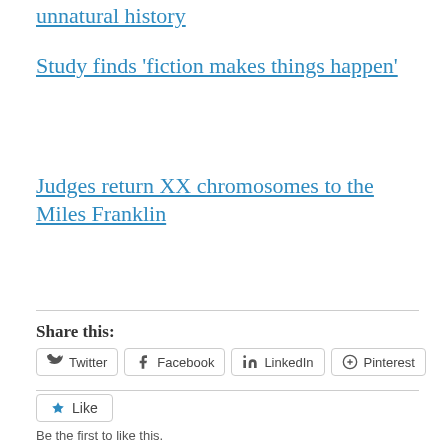unnatural history
Study finds 'fiction makes things happen'
Judges return XX chromosomes to the Miles Franklin
Share this:
[Figure (screenshot): Social share buttons: Twitter, Facebook, LinkedIn, Pinterest]
[Figure (screenshot): Like button]
Be the first to like this.